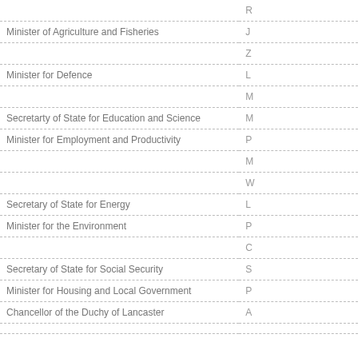| Role | Name |
| --- | --- |
|  | R |
| Minister of Agriculture and Fisheries | J |
|  | Z |
| Minister for Defence | L |
|  | M |
| Secretarty of State for Education and Science | M |
| Minister for Employment and Productivity | P |
|  | M |
|  | W |
| Secretary of State for Energy | L |
| Minister for the Environment | P |
|  | C |
| Secretary of State for Social Security | S |
| Minister for Housing and Local Government | P |
| Chancellor of the Duchy of Lancaster | A |